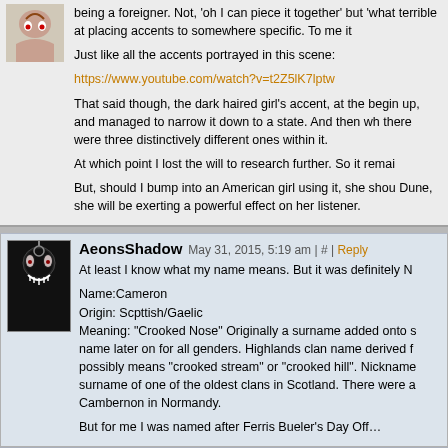being a foreigner. Not, 'oh I can piece it together' but 'what terrible at placing accents to somewhere specific. To me it
Just like all the accents portrayed in this scene:
https://www.youtube.com/watch?v=t2Z5lK7lptw
That said though, the dark haired girl's accent, at the begin up, and managed to narrow it down to a state. And then wh there were three distinctively different ones within it.
At which point I lost the will to research further. So it remai
But, should I bump into an American girl using it, she shou Dune, she will be exerting a powerful effect on her listener.
AeonsShadow — May 31, 2015, 5:19 am | # | Reply
At least I know what my name means. But it was definitely N
Name:Cameron
Origin: Scpttish/Gaelic
Meaning: "Crooked Nose" Originally a surname added onto s name later on for all genders. Highlands clan name derived f possibly means "crooked stream" or "crooked hill". Nicknames surname of one of the oldest clans in Scotland. There were a Cambernon in Normandy.
But for me I was named after Ferris Bueler's Day Off…